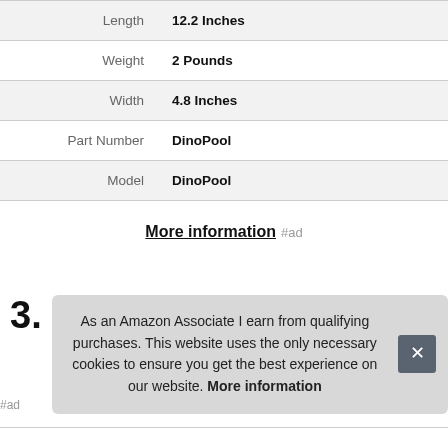| Attribute | Value |
| --- | --- |
| Length | 12.2 Inches |
| Weight | 2 Pounds |
| Width | 4.8 Inches |
| Part Number | DinoPool |
| Model | DinoPool |
More information #ad
3.
As an Amazon Associate I earn from qualifying purchases. This website uses the only necessary cookies to ensure you get the best experience on our website. More information